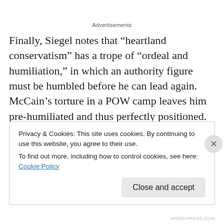Advertisements
Finally, Siegel notes that “heartland conservatism” has a trope of “ordeal and humiliation,” in which an authority figure must be humbled before he can lead again. McCain’s torture in a POW camp leaves him pre-humiliated and thus perfectly positioned. This trope fits the classic hero pattern of descent and rebirth, which, as James Frazer and Carl Jung pointed out, is among the
Privacy & Cookies: This site uses cookies. By continuing to use this website, you agree to their use.
To find out more, including how to control cookies, see here: Cookie Policy
Close and accept
WORDPRESS.COM